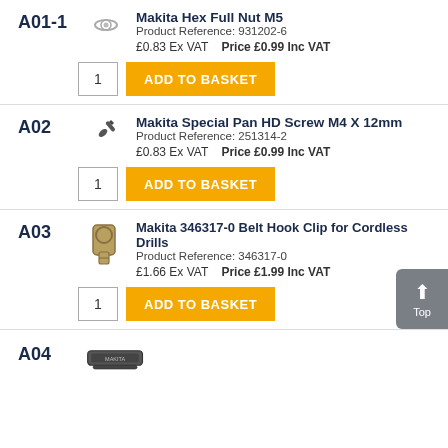A01-1 | Makita Hex Full Nut M5 | Product Reference: 931202-6 | £0.83 Ex VAT | Price £0.99 Inc VAT
A02 | Makita Special Pan HD Screw M4 X 12mm | Product Reference: 251314-2 | £0.83 Ex VAT | Price £0.99 Inc VAT
A03 | Makita 346317-0 Belt Hook Clip for Cordless Drills | Product Reference: 346317-0 | £1.66 Ex VAT | Price £1.99 Inc VAT
A04